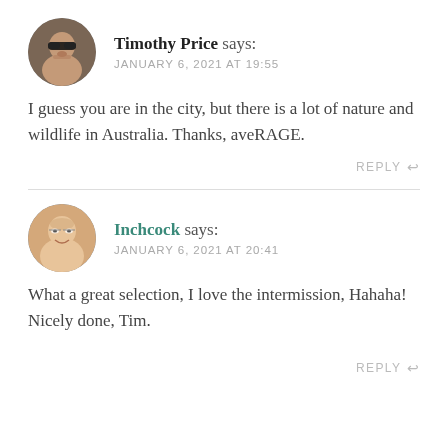[Figure (photo): Circular avatar photo of Timothy Price, a man wearing dark sunglasses]
Timothy Price says:
JANUARY 6, 2021 AT 19:55
I guess you are in the city, but there is a lot of nature and wildlife in Australia. Thanks, aveRAGE.
REPLY
[Figure (photo): Circular avatar photo of Inchcock, an older bald man with glasses, smiling]
Inchcock says:
JANUARY 6, 2021 AT 20:41
What a great selection, I love the intermission, Hahaha! Nicely done, Tim.
REPLY